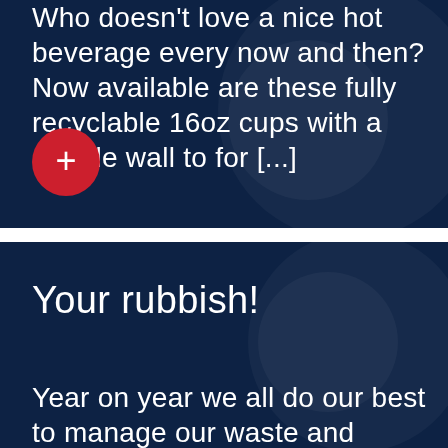Who doesn't love a nice hot beverage every now and then? Now available are these fully recyclable 16oz cups with a double wall to for [...]
[Figure (other): Red circular button with a white plus sign]
Your rubbish!
Year on year we all do our best to manage our waste and recycle where we can, whether